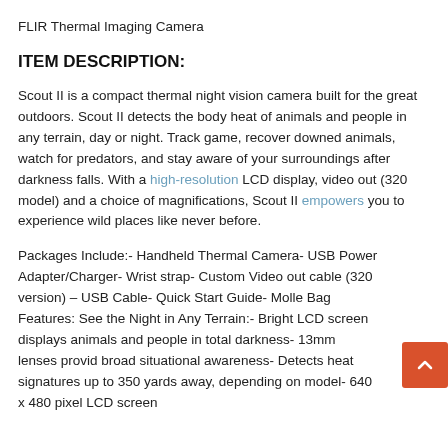FLIR Thermal Imaging Camera
ITEM DESCRIPTION:
Scout II is a compact thermal night vision camera built for the great outdoors. Scout II detects the body heat of animals and people in any terrain, day or night. Track game, recover downed animals, watch for predators, and stay aware of your surroundings after darkness falls. With a high-resolution LCD display, video out (320 model) and a choice of magnifications, Scout II empowers you to experience wild places like never before.
Packages Include:- Handheld Thermal Camera- USB Power Adapter/Charger- Wrist strap- Custom Video out cable (320 version) – USB Cable- Quick Start Guide- Molle Bag Features: See the Night in Any Terrain:- Bright LCD screen displays animals and people in total darkness- 13mm lenses provid broad situational awareness- Detects heat signatures up to 350 yards away, depending on model- 640 x 480 pixel LCD screen